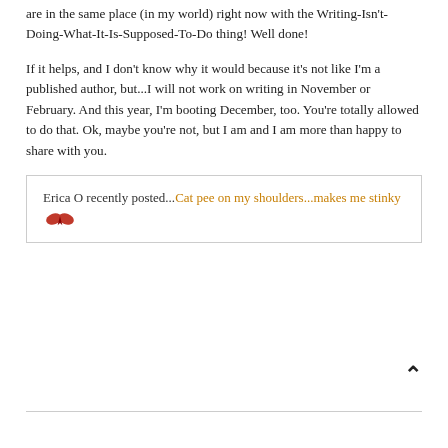are in the same place (in my world) right now with the Writing-Isn't-Doing-What-It-Is-Supposed-To-Do thing! Well done!
If it helps, and I don't know why it would because it's not like I'm a published author, but...I will not work on writing in November or February. And this year, I'm booting December, too. You're totally allowed to do that. Ok, maybe you're not, but I am and I am more than happy to share with you.
Erica O recently posted...Cat pee on my shoulders...makes me stinky